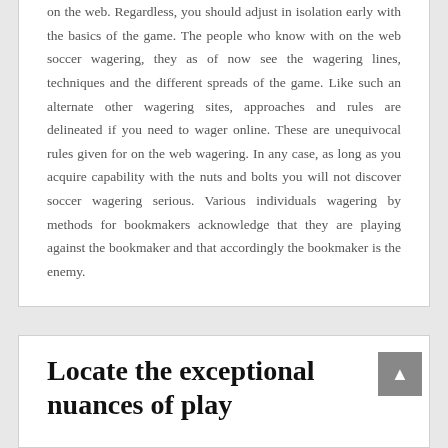on the web. Regardless, you should adjust in isolation early with the basics of the game. The people who know with on the web soccer wagering, they as of now see the wagering lines, techniques and the different spreads of the game. Like such an alternate other wagering sites, approaches and rules are delineated if you need to wager online. These are unequivocal rules given for on the web wagering. In any case, as long as you acquire capability with the nuts and bolts you will not discover soccer wagering serious. Various individuals wagering by methods for bookmakers acknowledge that they are playing against the bookmaker and that accordingly the bookmaker is the enemy.
Locate the exceptional nuances of play